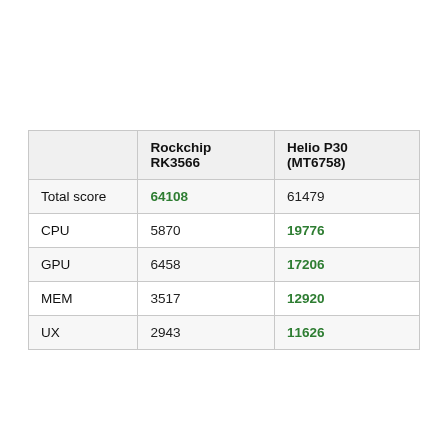|  | Rockchip RK3566 | Helio P30 (MT6758) |
| --- | --- | --- |
| Total score | 64108 | 61479 |
| CPU | 5870 | 19776 |
| GPU | 6458 | 17206 |
| MEM | 3517 | 12920 |
| UX | 2943 | 11626 |